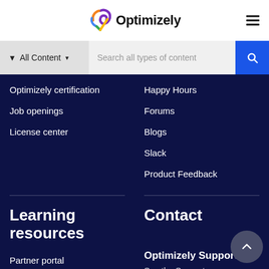[Figure (logo): Optimizely logo with colorful swirl icon and bold text]
[Figure (screenshot): Search bar with 'All Content' filter dropdown and 'Search all types of content' placeholder, blue search button]
Optimizely certification
Happy Hours
Job openings
Forums
License center
Blogs
Slack
Product Feedback
Learning resources
Contact
Partner portal
Optimizely Support
Developer guides
See the Support page for contact information.